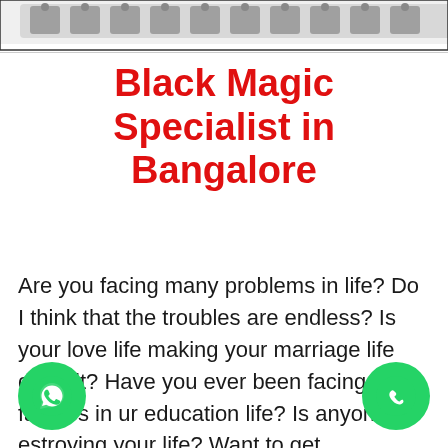[Figure (photo): Partial image of decorative or roof tile pattern at the top of the page]
Black Magic Specialist in Bangalore
Are you facing many problems in life? Do I think that the troubles are endless? Is your love life making your marriage life difficult? Have you ever been facing failures in ur education life? Is anyone estroying your life? Want to get
[Figure (logo): Green circular WhatsApp icon button at bottom left]
[Figure (logo): Green circular phone/call icon button at bottom right]